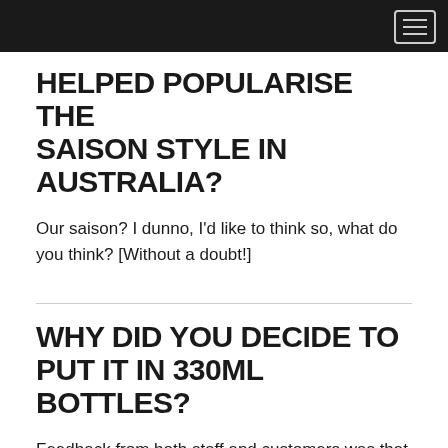HELPED POPULARISE THE SAISON STYLE IN AUSTRALIA?
Our saison? I dunno, I'd like to think so, what do you think? [Without a doubt!]
WHY DID YOU DECIDE TO PUT IT IN 330ML BOTTLES?
Feedback from both staff and customers was that they felt it would move better in 330ml. Now we have mainly 330ml with some limited batches of 750ml (my preferred option).
WAS IT DIFFICULT TO FIND A PLACE FOR THE BEER WITHIN